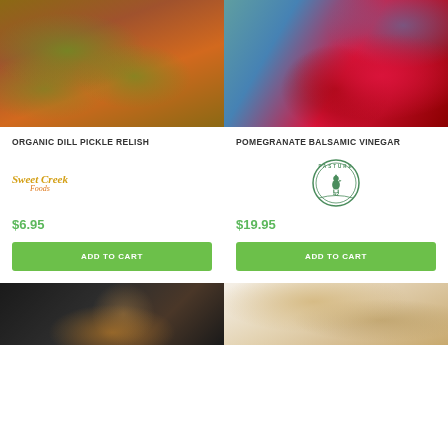[Figure (photo): Organic dill pickles/cucumbers on a wooden cutting board with a knife and chopped pieces]
[Figure (photo): Pomegranate balsamic vinegar in glass bottle with cork, surrounded by pomegranate seeds on a teal wooden surface]
ORGANIC DILL PICKLE RELISH
POMEGRANATE BALSAMIC VINEGAR
[Figure (logo): Sweet Creek Foods logo in orange/gold handwritten style]
[Figure (logo): Pasture 42 circular logo with rooster in green]
$6.95
$19.95
ADD TO CART
ADD TO CART
[Figure (photo): Spice or powder product on dark/black background with glass jars]
[Figure (photo): Wheat or grain product on light background]